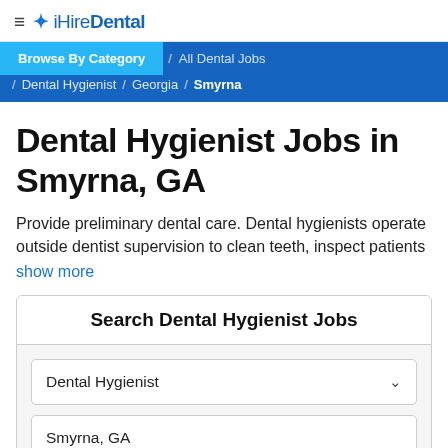≡ ✦ iHireDental
Browse By Category / All Dental Jobs / Dental Hygienist / Georgia / Smyrna
Dental Hygienist Jobs in Smyrna, GA
Provide preliminary dental care. Dental hygienists operate outside dentist supervision to clean teeth, inspect patients show more
Search Dental Hygienist Jobs
Dental Hygienist
Smyrna, GA